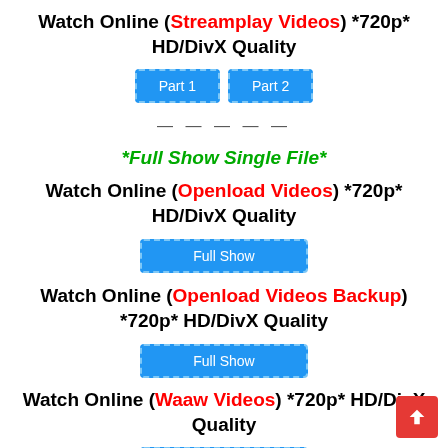Watch Online (Streamplay Videos) *720p* HD/DivX Quality
[Figure (other): Part 1 and Part 2 blue buttons with dashed border]
-----
*Full Show Single File*
Watch Online (Openload Videos) *720p* HD/DivX Quality
[Figure (other): Full Show blue button with dashed border]
Watch Online (Openload Videos Backup) *720p* HD/DivX Quality
[Figure (other): Full Show blue button with dashed border]
Watch Online (Waaw Videos) *720p* HD/DivX Quality
[Figure (other): Full Show blue button with dashed border (partially visible)]